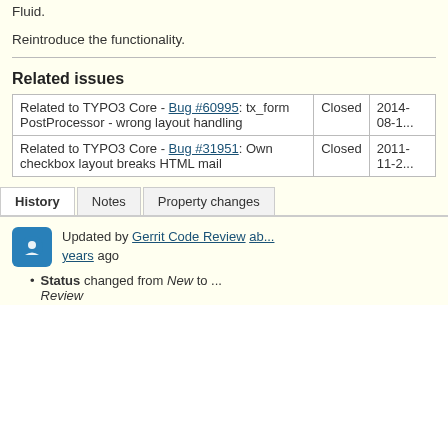Fluid.
Reintroduce the functionality.
Related issues
| Relation | Status | Date |
| --- | --- | --- |
| Related to TYPO3 Core - Bug #60995: tx_form PostProcessor - wrong layout handling | Closed | 2014-08-1... |
| Related to TYPO3 Core - Bug #31951: Own checkbox layout breaks HTML mail | Closed | 2011-11-2... |
History | Notes | Property changes
Updated by Gerrit Code Review about ... years ago
Status changed from New ... to ... Review